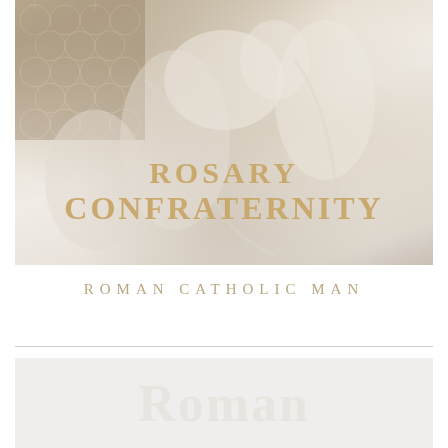[Figure (photo): White marble statue of the Virgin Mary with Child Jesus and another figure, overlaid with a geometric pattern in the top-left corner. Text overlay reads ROSARY CONFRATERNITY in gold letters.]
ROMAN CATHOLIC MAN
[Figure (photo): Bottom card with light grey background showing the beginning of the word 'Roman' in large white serif letters.]